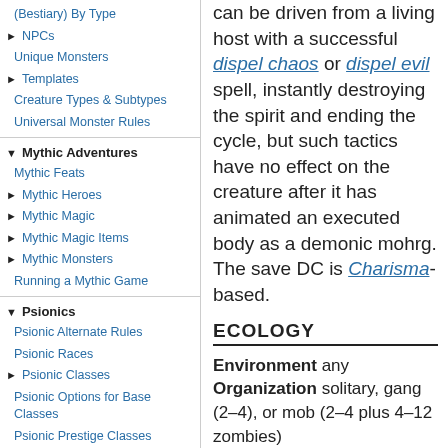(Bestiary) By Type
NPCs
Unique Monsters
Templates
Creature Types & Subtypes
Universal Monster Rules
Mythic Adventures
Mythic Feats
Mythic Heroes
Mythic Magic
Mythic Magic Items
Mythic Monsters
Running a Mythic Game
Psionics
Psionic Alternate Rules
Psionic Races
Psionic Classes
Psionic Options for Base Classes
Psionic Prestige Classes
Psionic Skills
Psionic Feats
Psionic Equipment
can be driven from a living host with a successful dispel chaos or dispel evil spell, instantly destroying the spirit and ending the cycle, but such tactics have no effect on the creature after it has animated an executed body as a demonic mohrg. The save DC is Charisma-based.
ECOLOGY
Environment any Organization solitary, gang (2–4), or mob (2–4 plus 4–12 zombies) Treasure standard (see below)
In a few tragic cases, a mass murderer or serial killer